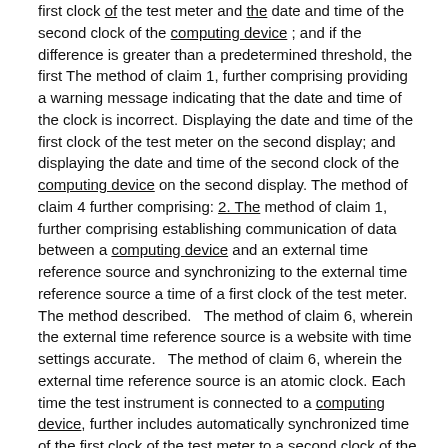first clock of the test meter and the date and time of the second clock of the computing device ; and if the difference is greater than a predetermined threshold, the first The method of claim 1, further comprising providing a warning message indicating that the date and time of the clock is incorrect. Displaying the date and time of the first clock of the test meter on the second display; and displaying the date and time of the second clock of the computing device on the second display. The method of claim 4 further comprising: 2. The method of claim 1, further comprising establishing communication of data between a computing device and an external time reference source and synchronizing to the external time reference source a time of a first clock of the test meter. The method described.   The method of claim 6, wherein the external time reference source is a website with time settings accurate.   The method of claim 6, wherein the external time reference source is an atomic clock. Each time the test instrument is connected to a computing device, further includes automatically synchronized time of the first clock of the test meter to a second clock of the computing device, to claim 1 The method described. A method of operating a diabetes management system, Storing a plurality of glucose measurements in a first memory of a test meter, each of the glucose measurements having a time stamp and an order index , wherein the time stamp includes a date on which the glucose measurement is performed and including a time, wherein